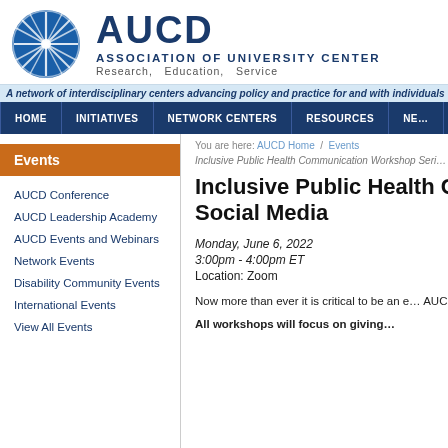[Figure (logo): AUCD logo — blue circular starburst graphic with white lines, next to 'AUCD' in large dark blue bold text, 'ASSOCIATION OF UNIVERSITY CENTER' in uppercase dark blue, and 'Research, Education, Service' tagline]
A network of interdisciplinary centers advancing policy and practice for and with individuals wit…
HOME  INITIATIVES  NETWORK CENTERS  RESOURCES  NE…
Events
AUCD Conference
AUCD Leadership Academy
AUCD Events and Webinars
Network Events
Disability Community Events
International Events
View All Events
You are here: AUCD Home / Events
Inclusive Public Health Communication Workshop Seri…
Inclusive Public Health Com… Social Media
Monday, June 6, 2022
3:00pm - 4:00pm ET
Location: Zoom
Now more than ever it is critical to be an e… AUCD's network, you are invited to attend … (April – July 2022) led by a joint collabora… Hood Medicine Initiative, sponsored by AU…
All workshops will focus on giving…